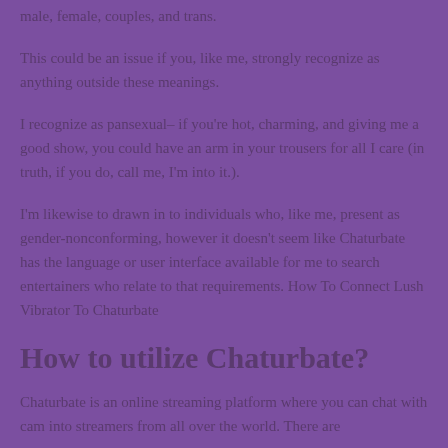male, female, couples, and trans.
This could be an issue if you, like me, strongly recognize as anything outside these meanings.
I recognize as pansexual– if you're hot, charming, and giving me a good show, you could have an arm in your trousers for all I care (in truth, if you do, call me, I'm into it.).
I'm likewise to drawn in to individuals who, like me, present as gender-nonconforming, however it doesn't seem like Chaturbate has the language or user interface available for me to search entertainers who relate to that requirements. How To Connect Lush Vibrator To Chaturbate
How to utilize Chaturbate?
Chaturbate is an online streaming platform where you can chat with cam into streamers from all over the world. There are